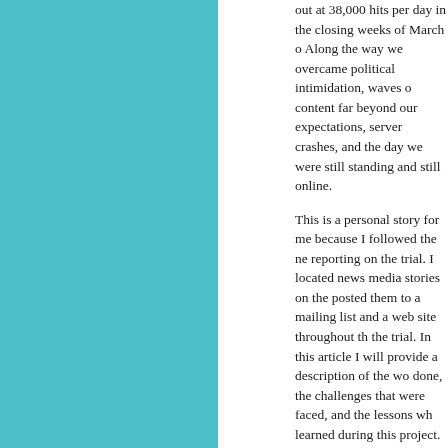out at 38,000 hits per day in the closing weeks of March o Along the way we overcame political intimidation, waves o content far beyond our expectations, server crashes, and the day we were still standing and still online.
This is a personal story for me because I followed the ne reporting on the trial. I located news media stories on the posted them to a mailing list and a web site throughout th the trial. In this article I will provide a description of the wo done, the challenges that were faced, and the lessons wh learned during this project.
Shape Shifting in Time
Holocaust denial is a movement which attempts to chang understanding of historical facts, and to re-shape content ends. In order to spread their message, groups espousing denial have used the Internet, including web technologies increasing sophistication. The US news media has often t Holocaust deniers as marginal characters occupying a ni conspiracy theorists of all kinds including people claiming by aliens. This changed with the Holocaust denial trial Irvi
What would you say about a news story that involved . . .